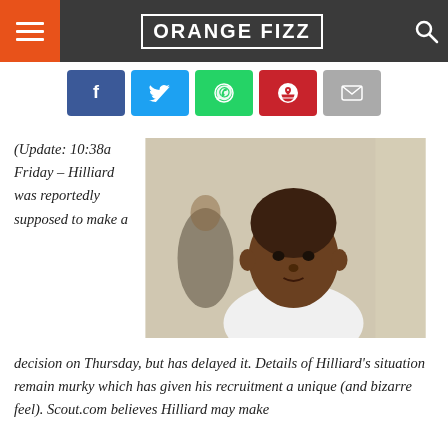ORANGE FIZZ
[Figure (screenshot): Social media share buttons: Facebook (blue), Twitter (light blue), WhatsApp (green), Pinterest (red), Email (grey)]
(Update: 10:38a Friday – Hilliard was reportedly supposed to make a decision on Thursday, but has delayed it. Details of Hilliard's situation remain murky which has given his recruitment a unique (and bizarre feel). Scout.com believes Hilliard may make
[Figure (photo): Photo of a young man looking at the camera, wearing a white shirt, indoor setting]